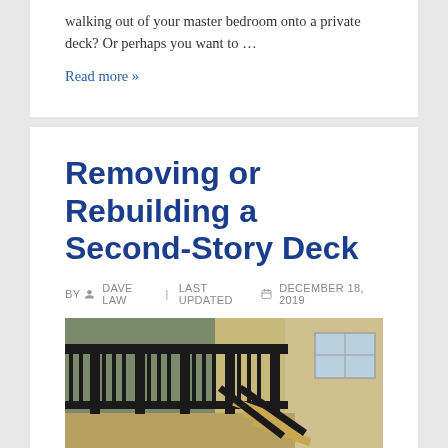walking out of your master bedroom onto a private deck? Or perhaps you want to …
Read more »
Removing or Rebuilding a Second-Story Deck
BY  DAVE LAW  |  LAST UPDATED  DECEMBER 18, 2019
[Figure (photo): Photo of a second-story deck with black metal railings and stairs attached to a house with beige siding.]